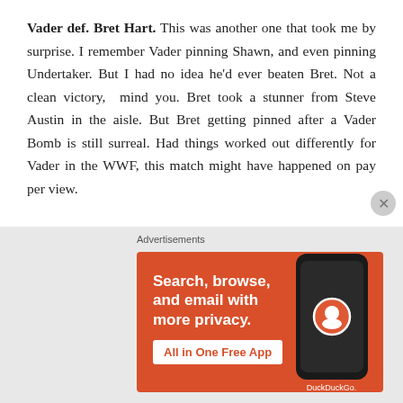Vader def. Bret Hart. This was another one that took me by surprise. I remember Vader pinning Shawn, and even pinning Undertaker. But I had no idea he'd ever beaten Bret. Not a clean victory, mind you. Bret took a stunner from Steve Austin in the aisle. But Bret getting pinned after a Vader Bomb is still surreal. Had things worked out differently for Vader in the WWF, this match might have happened on pay per view.

At this point, it seems like they were still building for Bret vs. Shawn at Wrestlemania XIII. That didn't happen,
[Figure (other): DuckDuckGo advertisement banner with orange background. Text reads: Search, browse, and email with more privacy. All in One Free App. Shows a smartphone with DuckDuckGo logo.]